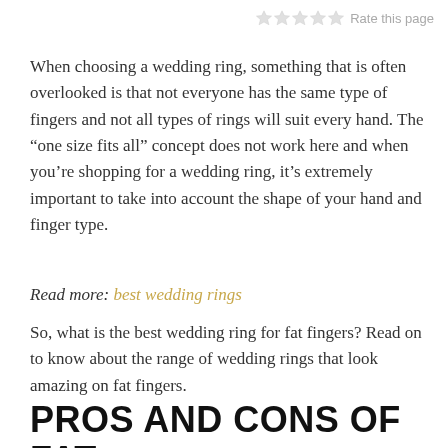Rate this page
When choosing a wedding ring, something that is often overlooked is that not everyone has the same type of fingers and not all types of rings will suit every hand. The “one size fits all” concept does not work here and when you’re shopping for a wedding ring, it’s extremely important to take into account the shape of your hand and finger type.
Read more: best wedding rings
So, what is the best wedding ring for fat fingers? Read on to know about the range of wedding rings that look amazing on fat fingers.
PROS AND CONS OF FAT